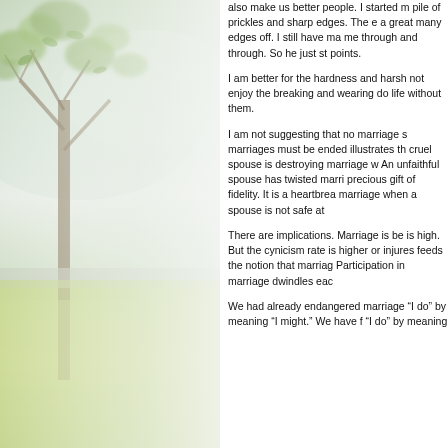[Figure (photo): A soft-focus photograph showing a tree with green leaves in the upper portion and a green grassy field in the lower portion, with a misty/foggy background creating a gentle, serene atmosphere.]
also make us better people. I started m pile of prickles and sharp edges. The e a great many edges off. I still have ma me through and through. So he just st points.
I am better for the hardness and harsh not enjoy the breaking and wearing do life without them.
I am not suggesting that no marriage s marriages must be ended illustrates th cruel spouse is destroying marriage w An unfaithful spouse has twisted marri precious gift of fidelity. It is a heartbrea marriage when a spouse is not safe at
There are implications. Marriage is be is high. But the cynicism rate is higher or injures feeds the notion that marriag Participation in marriage dwindles eac
We had already endangered marriage "I do" by meaning "I might." We have f "I do" by meaning...